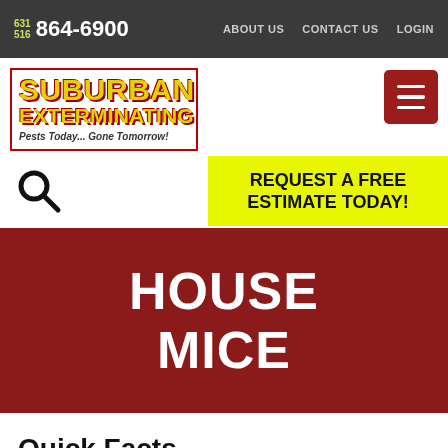631/516 864-6900 | ABOUT US | CONTACT US | LOGIN
[Figure (logo): Suburban Exterminating logo with yellow text on red border, tagline: Pests Today... Gone Tomorrow!]
[Figure (other): Hamburger menu icon (three horizontal lines) on dark red square background]
[Figure (other): Search magnifying glass icon]
REQUEST A FREE ESTIMATE TODAY!
HOUSE MICE
Quick Facts